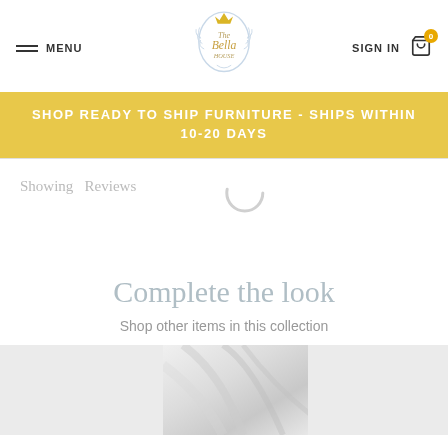MENU | The Bella House Logo | SIGN IN | Cart 0
SHOP READY TO SHIP FURNITURE - SHIPS WITHIN 10-20 DAYS
Showing  Reviews
[Figure (other): Loading spinner (arc)]
Complete the look
Shop other items in this collection
[Figure (photo): Product collection image showing white/silver fabric draped]